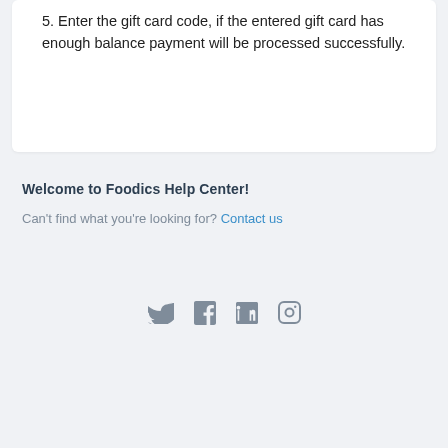5. Enter the gift card code, if the entered gift card has enough balance payment will be processed successfully.
Welcome to Foodics Help Center!
Can't find what you're looking for? Contact us
[Figure (other): Social media icons: Twitter, Facebook, LinkedIn, Instagram]